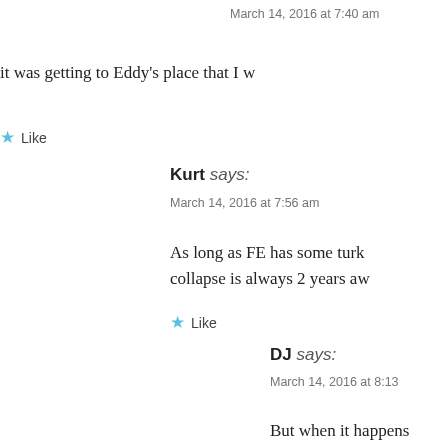March 14, 2016 at 7:40 am
it was getting to Eddy's place that I w
Like
Kurt says:
March 14, 2016 at 7:56 am
As long as FE has some turk collapse is always 2 years aw
Like
DJ says:
March 14, 2016 at 8:13
But when it happens